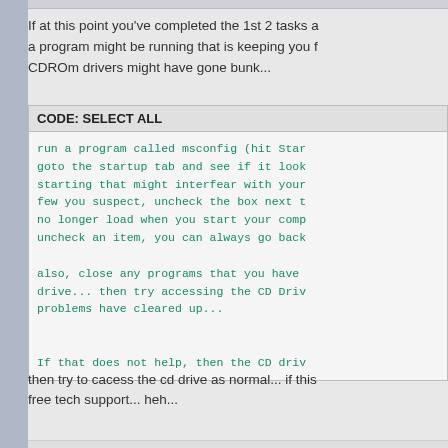If at this point you've completed the 1st 2 tasks a a program might be running that is keeping you f CDROm drivers might have gone bunk...
CODE: SELECT ALL

run a program called msconfig (hit Star goto the startup tab and see if it look starting that might interfear with your few you suspect, uncheck the box next t no longer load when you start your comp uncheck an item, you can always go back

also, close any programs that you have drive... then try accessing the CD Driv problems have cleared up...

If that does not help, then the CD driv
then try to cacess the cd drive as normal... if this free tech support... heh...